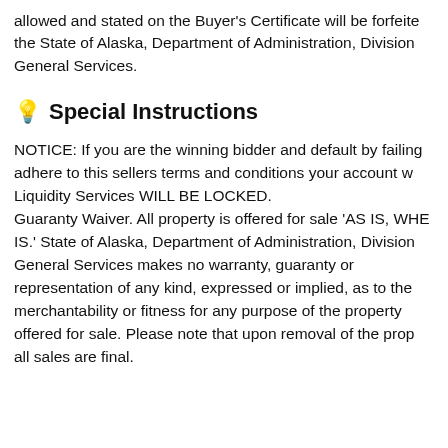allowed and stated on the Buyer's Certificate will be forfeited to the State of Alaska, Department of Administration, Division of General Services.
Special Instructions
NOTICE: If you are the winning bidder and default by failing to adhere to this sellers terms and conditions your account with Liquidity Services WILL BE LOCKED.
Guaranty Waiver. All property is offered for sale 'AS IS, WHERE IS.' State of Alaska, Department of Administration, Division of General Services makes no warranty, guaranty or representation of any kind, expressed or implied, as to the merchantability or fitness for any purpose of the property offered for sale. Please note that upon removal of the property all sales are final.